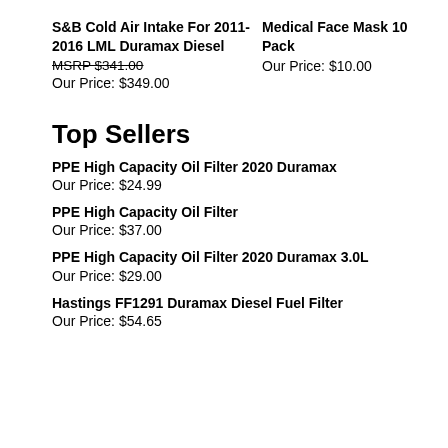S&B Cold Air Intake For 2011-2016 LML Duramax Diesel
MSRP $341.00
Our Price: $349.00
Medical Face Mask 10 Pack
Our Price: $10.00
Top Sellers
PPE High Capacity Oil Filter 2020 Duramax
Our Price: $24.99
PPE High Capacity Oil Filter
Our Price: $37.00
PPE High Capacity Oil Filter 2020 Duramax 3.0L
Our Price: $29.00
Hastings FF1291 Duramax Diesel Fuel Filter
Our Price: $54.65